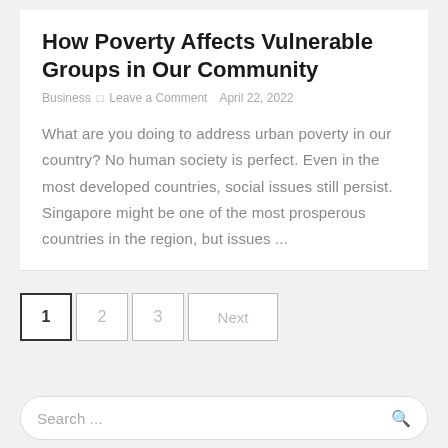How Poverty Affects Vulnerable Groups in Our Community
Business   □ Leave a Comment   April 22, 2022
What are you doing to address urban poverty in our country? No human society is perfect. Even in the most developed countries, social issues still persist. Singapore might be one of the most prosperous countries in the region, but issues ...